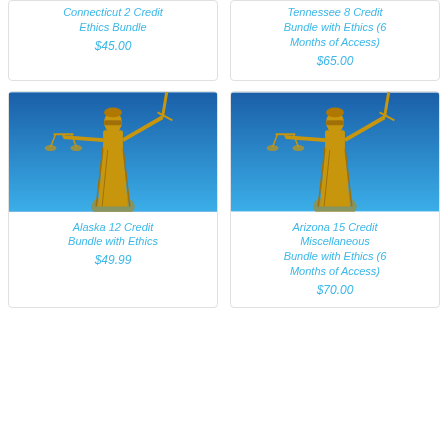Connecticut 2 Credit Ethics Bundle
$45.00
Tennessee 8 Credit Bundle with Ethics (6 Months of Access)
$65.00
[Figure (photo): Golden Lady Justice statue holding scales and sword against blue sky]
Alaska 12 Credit Bundle with Ethics
$49.99
[Figure (photo): Golden Lady Justice statue holding scales and sword against blue sky]
Arizona 15 Credit Miscellaneous Bundle with Ethics (6 Months of Access)
$70.00